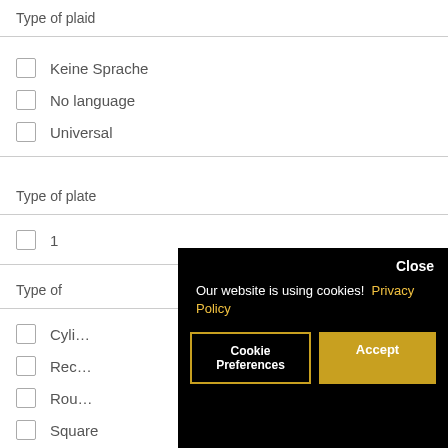Type of plaid
Keine Sprache
No language
Universal
Type of plate
1
Type of
Cylin...
Rec...
Rou...
Square
[Figure (screenshot): Cookie consent overlay with black background. Shows 'Close' button top right, message 'Our website is using cookies! Privacy Policy', and two buttons: 'Cookie Preferences' (outlined) and 'Accept' (gold/yellow fill).]